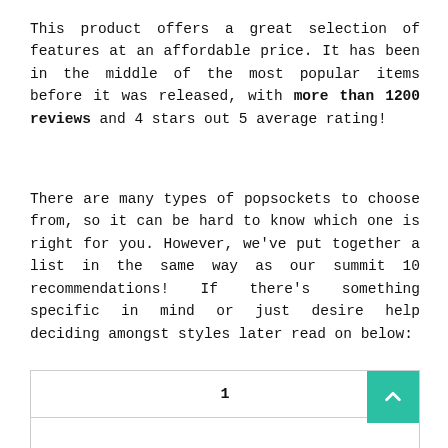This product offers a great selection of features at an affordable price. It has been in the middle of the most popular items before it was released, with more than 1200 reviews and 4 stars out 5 average rating!
There are many types of popsockets to choose from, so it can be hard to know which one is right for you. However, we've put together a list in the same way as our summit 10 recommendations! If there's something specific in mind or just desire help deciding amongst styles later read on below:
| 1 |
| --- |
|  |